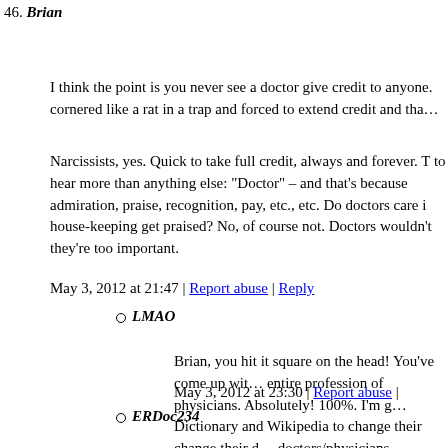46. Brian
I think the point is you never see a doctor give credit to anyone. cornered like a rat in a trap and forced to extend credit and tha…
Narcissists, yes. Quick to take full credit, always and forever. T to hear more than anything else: "Doctor" – and that's because admiration, praise, recognition, pay, etc., etc. Do doctors care i house-keeping get praised? No, of course not. Doctors wouldn't they're too important.
May 3, 2012 at 21:47 | Report abuse | Reply
LMAO
Brian, you hit it square on the head! You've come up wit… entire profession of physicians. Absolutely! 100%. I'm g… Dictionary and Wikipedia to change their change their d… doctors/physicians.
May 3, 2012 at 23:30 | Report abuse |
ERDoc234
While your generalization may have some truths, I have here. Nowhere else in medicine will you find greater tea… company throw a party every year for all the ancillary st… case reviews so we can ALL learn from each others per…